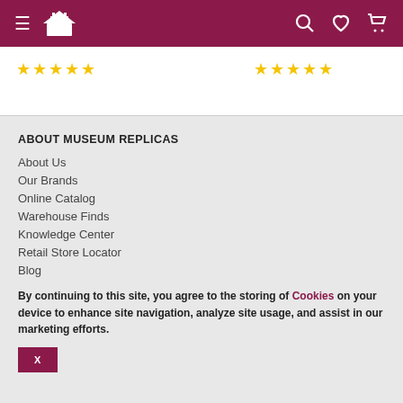Museum Replicas navigation header with hamburger menu, logo, search, wishlist, and cart icons
[Figure (other): Two groups of five yellow star ratings]
ABOUT MUSEUM REPLICAS
About Us
Our Brands
Online Catalog
Warehouse Finds
Knowledge Center
Retail Store Locator
Blog
By continuing to this site, you agree to the storing of Cookies on your device to enhance site navigation, analyze site usage, and assist in our marketing efforts.
X